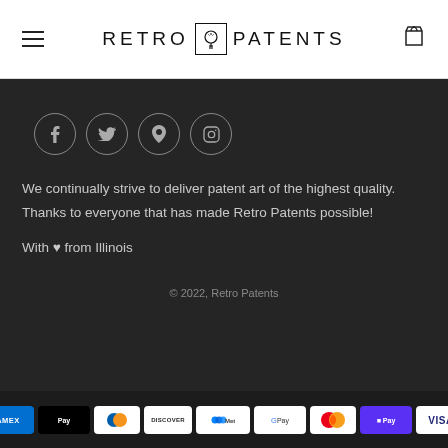RETRO PATENTS
[Figure (screenshot): Social media icons: Facebook, Twitter, Pinterest, Instagram in circles]
We continually strive to deliver patent art of the highest quality. Thanks to everyone that has made Retro Patents possible!
With ♥ from Illinois
© 2022, Retro Patents
[Figure (logo): Payment method logos: American Express, Apple Pay, Diners Club, Discover, Meta Pay, Google Pay, Mastercard, ShopPay, Visa]